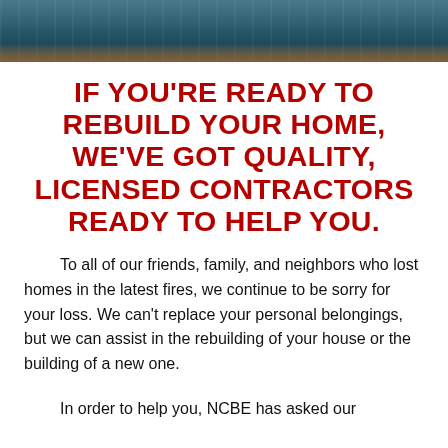[Figure (photo): Top banner showing a dark teal/blue water or sky texture, partial view of a stormy or flood scene]
IF YOU'RE READY TO REBUILD YOUR HOME, WE'VE GOT QUALITY, LICENSED CONTRACTORS READY TO HELP YOU.
To all of our friends, family, and neighbors who lost homes in the latest fires, we continue to be sorry for your loss. We can't replace your personal belongings, but we can assist in the rebuilding of your house or the building of a new one.
In order to help you, NCBE has asked our